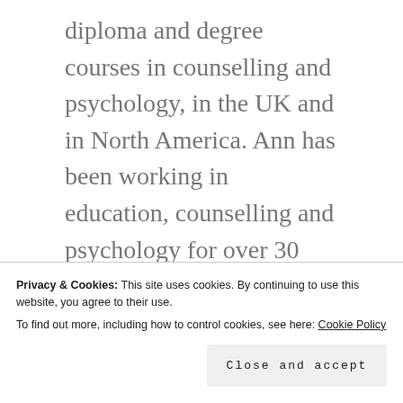diploma and degree courses in counselling and psychology, in the UK and in North America. Ann has been working in education, counselling and psychology for over 30 years.
Ann's blog Don't Lose Hope, http://sexaddictionpartners@wordpress.com supports, helps heal and educate partners of sexual addiction. We are
Privacy & Cookies: This site uses cookies. By continuing to use this website, you agree to their use.
To find out more, including how to control cookies, see here: Cookie Policy